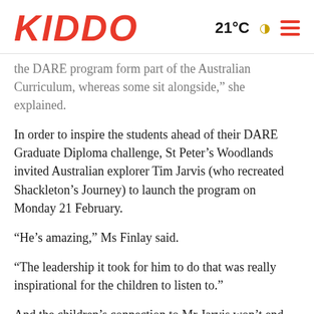KIDDO | 21°C
the DARE program form part of the Australian Curriculum, whereas some sit alongside," she explained.
In order to inspire the students ahead of their DARE Graduate Diploma challenge, St Peter's Woodlands invited Australian explorer Tim Jarvis (who recreated Shackleton's Journey) to launch the program on Monday 21 February.
“He’s amazing,” Ms Finlay said.
“The leadership it took for him to do that was really inspirational for the children to listen to.”
And the children’s connection to Mr Jarvis won’t end there, with plans for them to work with him on his One-Tree project on the Fleurieu Peninsula later in the year.
So how will the DARE Graduate Program’s success be measured?